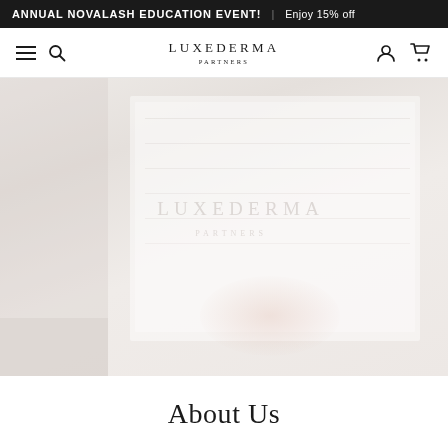ANNUAL NOVALASH EDUCATION EVENT! | Enjoy 15% off
LUXEDERMA PARTNERS
[Figure (photo): Faded hero image of a person holding a white Luxederma Partners branded box/book, with soft neutral tones and a ghosted 'LUXEDERMA PARTNERS' watermark overlay]
About Us